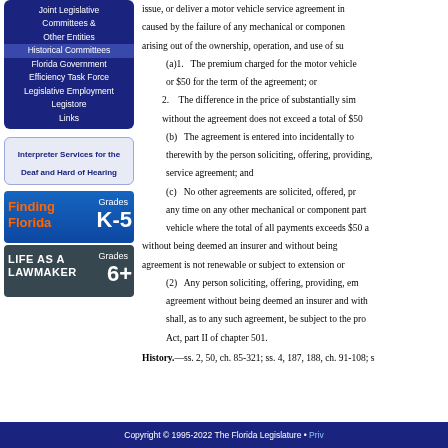Joint Legislative Committees & Other Entities
Historical Committees
Florida Government Efficiency Task Force
Legislative Employment
Legistore
Links
[Figure (infographic): Interpreter Services for the Deaf and Hard of Hearing link box]
[Figure (infographic): Finding Florida Grades K-5 educational resource banner]
[Figure (infographic): Life as a Lawmaker Grades 6+ educational resource banner]
issue, or deliver a motor vehicle service agreement in... caused by the failure of any mechanical or component... arising out of the ownership, operation, and use of su...
(a)1. The premium charged for the motor vehicle... or $50 for the term of the agreement; or
2. The difference in the price of substantially sim... without the agreement does not exceed a total of $50...
(b) The agreement is entered into incidentally to... therewith by the person soliciting, offering, providing,... service agreement; and
(c) No other agreements are solicited, offered, pr... any time on any other mechanical or component part... vehicle where the total of all payments exceeds $50 a...
without being deemed an insurer and without being... agreement is not renewable or subject to extension or...
(2) Any person soliciting, offering, providing, em... agreement without being deemed an insurer and with... shall, as to any such agreement, be subject to the pro... Act, part II of chapter 501.
History.—ss. 2, 50, ch. 85-321; ss. 4, 187, 188, ch. 91-108; s...
Copyright © 1995-2022 The Florida Legislature • Priv...